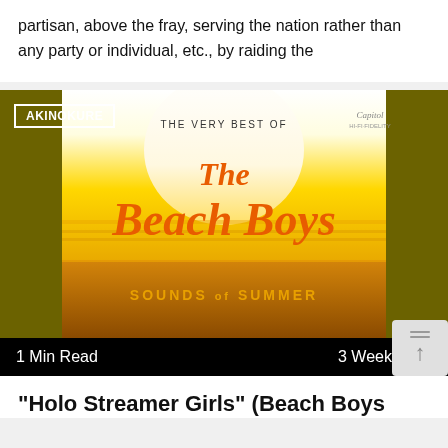partisan, above the fray, serving the nation rather than any party or individual, etc., by raiding the
[Figure (illustration): Album cover for 'The Very Best of The Beach Boys: Sounds of Summer' on Capitol Records. Features orange/yellow sunset sky over ocean with the band name in large orange script. Below is a label badge reading AKINOKURE and metadata showing '1 Min Read' and '3 Weeks Ago'.]
"Holo Streamer Girls" (Beach Boys